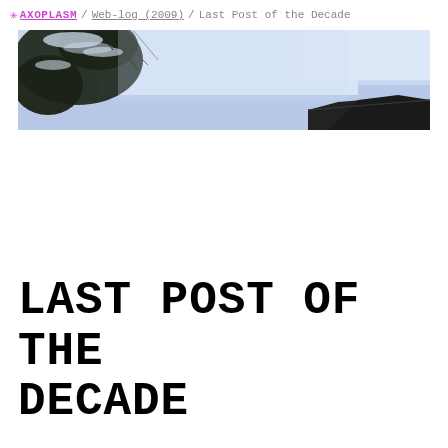✳ AXOPLASM / Web-log (2009) / Last Post of the Decade
[Figure (photo): Wide panoramic photo showing snow-dusted tree branches on the left side against a pale blue-grey sky, with a dark rooftop silhouette visible at the bottom right. The image has a cool, wintry tone.]
LAST POST OF THE DECADE